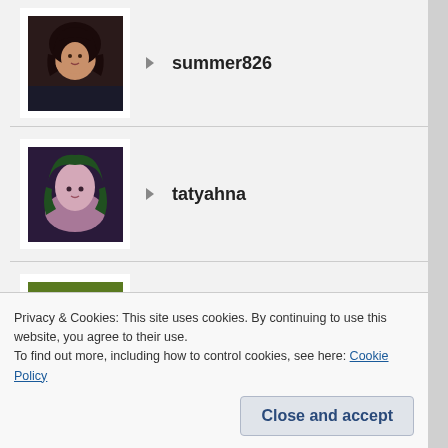summer826
tatyahna
tonyachin
travestyofthecondition
Privacy & Cookies: This site uses cookies. By continuing to use this website, you agree to their use.
To find out more, including how to control cookies, see here: Cookie Policy
Close and accept